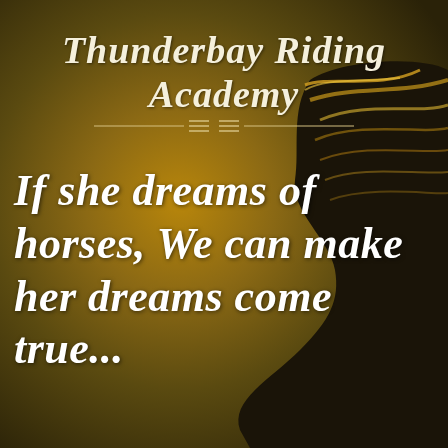[Figure (illustration): Background image with dark golden-brown gradient sky and silhouette of a horse's head with glowing golden mane on the right side]
Thunderbay Riding Academy
If she dreams of horses, We can make her dreams come true...